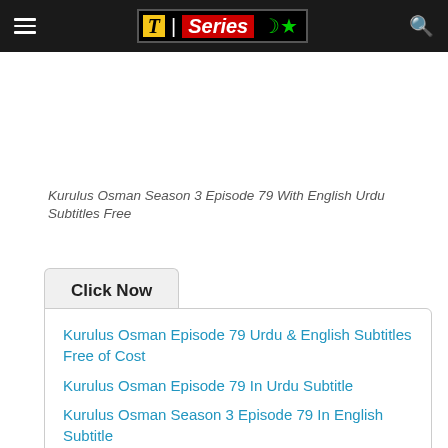T | Series (logo with crescent moon)
Kurulus Osman Season 3 Episode 79 With English Urdu Subtitles Free
Click Now
Kurulus Osman Episode 79 Urdu & English Subtitles Free of Cost
Kurulus Osman Episode 79 In Urdu Subtitle
Kurulus Osman Season 3 Episode 79 In English Subtitle